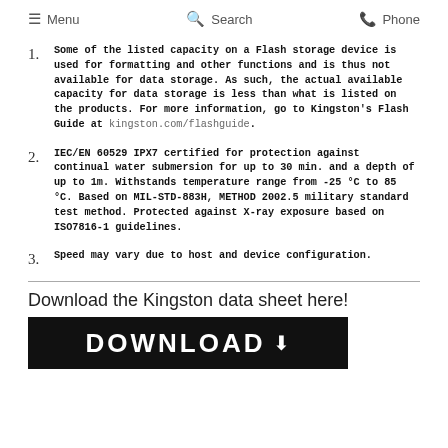Menu  Search  Phone
Some of the listed capacity on a Flash storage device is used for formatting and other functions and is thus not available for data storage. As such, the actual available capacity for data storage is less than what is listed on the products. For more information, go to Kingston's Flash Guide at kingston.com/flashguide.
IEC/EN 60529 IPX7 certified for protection against continual water submersion for up to 30 min. and a depth of up to 1m. Withstands temperature range from -25 °C to 85 °C. Based on MIL-STD-883H, METHOD 2002.5 military standard test method. Protected against X-ray exposure based on ISO7816-1 guidelines.
Speed may vary due to host and device configuration.
Download the Kingston data sheet here!
[Figure (other): DOWNLOAD button banner — black background with white bold text reading DOWNLOAD and a downward arrow icon]